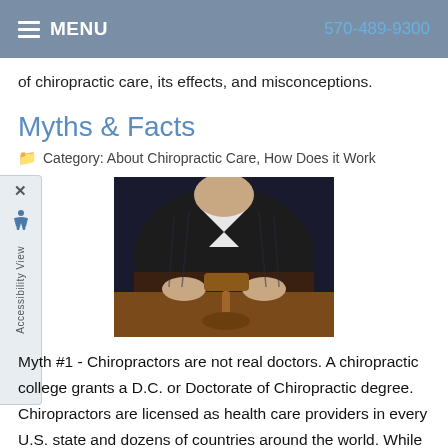MENU   570-489-9300
of chiropractic care, its effects, and misconceptions.
Myths & Facts
Category: About Chiropractic Care, How Does it Work
[Figure (photo): Person in dark suit holding a gavel on a wooden surface, suggesting legal or judicial authority]
Myth #1 - Chiropractors are not real doctors. A chiropractic college grants a D.C. or Doctorate of Chiropractic degree. Chiropractors are licensed as health care providers in every U.S. state and dozens of countries around the world. While the competition for acceptance in chiropractic school is not